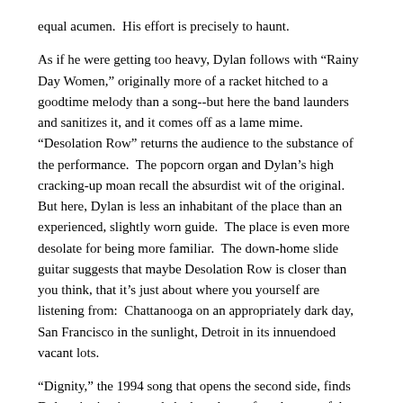equal acumen.  His effort is precisely to haunt.
As if he were getting too heavy, Dylan follows with "Rainy Day Women," originally more of a racket hitched to a goodtime melody than a song--but here the band launders and sanitizes it, and it comes off as a lame mime.  "Desolation Row" returns the audience to the substance of the performance.  The popcorn organ and Dylan's high cracking-up moan recall the absurdist wit of the original.  But here, Dylan is less an inhabitant of the place than an experienced, slightly worn guide.  The place is even more desolate for being more familiar.  The down-home slide guitar suggests that maybe Desolation Row is closer than you think, that it's just about where you yourself are listening from:  Chattanooga on an appropriately dark day, San Francisco in the sunlight, Detroit in its innuendoed vacant lots.
"Dignity," the 1994 song that opens the second side, finds Dylan singing in a mode he has always found successful:  a long string of vignettes that move in and out of an elusive abstraction.  He twists dignity from a noble ideal into a predator and back again.  Sometimes you wonder whether Dignity isn't the name of an old lover.  This is a song of searching and seeming to be near and not finding.  Dylan observes almost blithely: